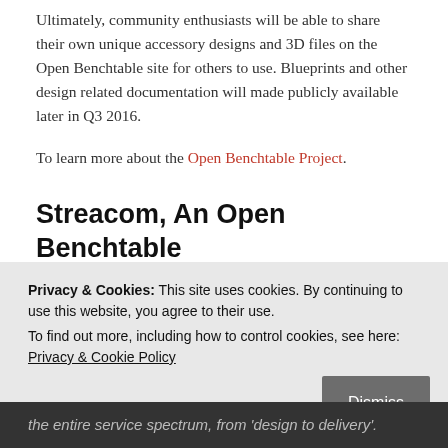Ultimately, community enthusiasts will be able to share their own unique accessory designs and 3D files on the Open Benchtable site for others to use. Blueprints and other design related documentation will made publicly available later in Q3 2016.
To learn more about the Open Benchtable Project.
Streacom, An Open Benchtable Partner
Streacom offer a range of products including active and
Privacy & Cookies: This site uses cookies. By continuing to use this website, you agree to their use.
To find out more, including how to control cookies, see here: Privacy & Cookie Policy
the entire service spectrum, from 'design to delivery'.